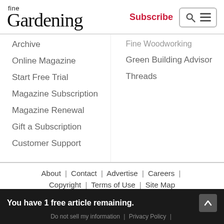fine Gardening | Subscribe
Fine Woodworking
Archive
Green Building Advisor
Online Magazine
Threads
Start Free Trial
Magazine Subscription
Magazine Renewal
Gift a Subscription
Customer Support
About | Contact | Advertise | Careers | Copyright | Terms of Use | Site Map
You have 1 free article remaining.
Do not sell my information | Privacy Policy |